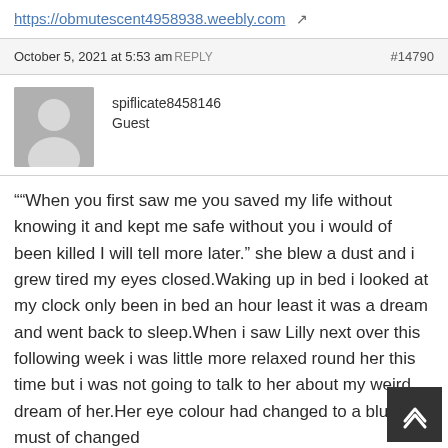https://obmutescent4958938.weebly.com ↗
October 5, 2021 at 5:53 am REPLY  #14790
spiflicate8458146
Guest
""When you first saw me you saved my life without knowing it and kept me safe without you i would of been killed I will tell more later." she blew a dust and i grew tired my eyes closed.Waking up in bed i looked at my clock only been in bed an hour least it was a dream and went back to sleep.When i saw Lilly next over this following week i was little more relaxed round her this time but i was not going to talk to her about my weird dream of her.Her eye colour had changed to a blue she must of changed